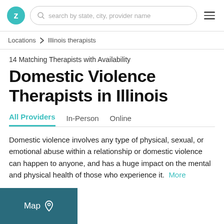z  search by state, city, provider name
Locations ▶ Illinois therapists
14 Matching Therapists with Availability
Domestic Violence Therapists in Illinois
All Providers  In-Person  Online
Domestic violence involves any type of physical, sexual, or emotional abuse within a relationship or domestic violence can happen to anyone, and has a huge impact on the mental and physical health of those who experience it. More